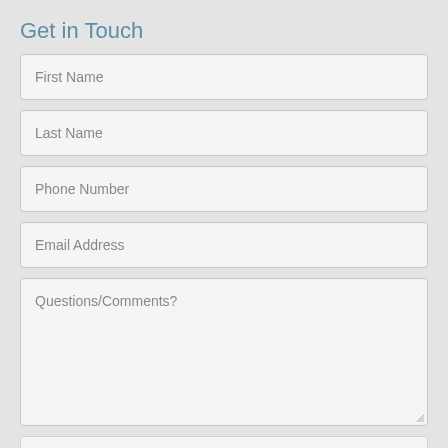Get in Touch
First Name
Last Name
Phone Number
Email Address
Questions/Comments?
[Figure (other): reCAPTCHA widget with checkbox labeled 'I'm not a robot' and reCAPTCHA logo on right side]
reCAPTCHA